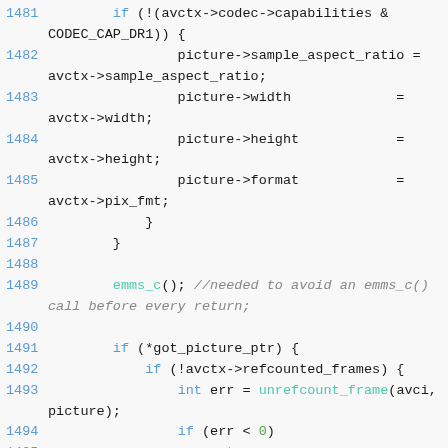Source code listing lines 1481-1498 showing C code for codec picture handling